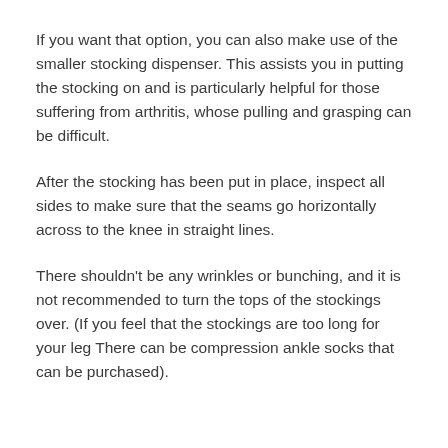If you want that option, you can also make use of the smaller stocking dispenser. This assists you in putting the stocking on and is particularly helpful for those suffering from arthritis, whose pulling and grasping can be difficult.
After the stocking has been put in place, inspect all sides to make sure that the seams go horizontally across to the knee in straight lines.
There shouldn't be any wrinkles or bunching, and it is not recommended to turn the tops of the stockings over. (If you feel that the stockings are too long for your leg There can be compression ankle socks that can be purchased).